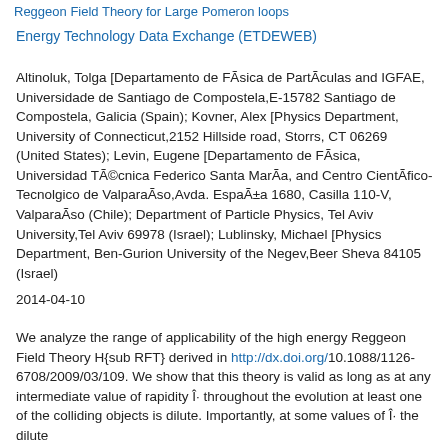Reggeon Field Theory for Large Pomeron loops (partial title)
Energy Technology Data Exchange (ETDEWEB)
Altinoluk, Tolga [Departamento de FÃsica de PartÃculas and IGFAE, Universidade de Santiago de Compostela,E-15782 Santiago de Compostela, Galicia (Spain); Kovner, Alex [Physics Department, University of Connecticut,2152 Hillside road, Storrs, CT 06269 (United States); Levin, Eugene [Departamento de FÃsica, Universidad TÃ©cnica Federico Santa MarÃa, and Centro CientÃfico-Tecnolgico de ValparaÃso,Avda. EspaÃ±a 1680, Casilla 110-V, ValparaÃso (Chile); Department of Particle Physics, Tel Aviv University,Tel Aviv 69978 (Israel); Lublinsky, Michael [Physics Department, Ben-Gurion University of the Negev,Beer Sheva 84105 (Israel)
2014-04-10
We analyze the range of applicability of the high energy Reggeon Field Theory H{sub RFT} derived in http://dx.doi.org/10.1088/1126-6708/2009/03/109. We show that this theory is valid as long as at any intermediate value of rapidity Î· throughout the evolution at least one of the colliding objects is dilute. Importantly, at some values of Î· the dilute object could be the projectile while at the site could be the ...